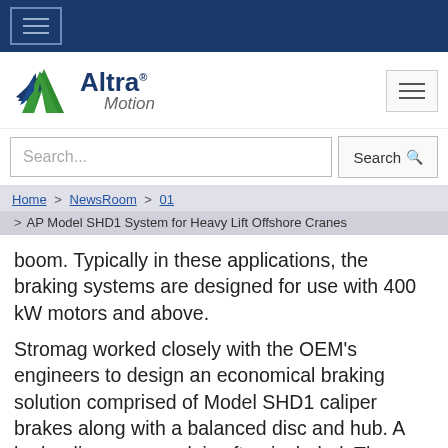Altra Motion — navigation top bar
[Figure (logo): Altra Motion logo with green/blue arrow icon and text]
Search...
Home > NewsRoom > 01 > AP Model SHD1 System for Heavy Lift Offshore Cranes
boom. Typically in these applications, the braking systems are designed for use with 400 kW motors and above.
Stromag worked closely with the OEM's engineers to design an economical braking solution comprised of Model SHD1 caliper brakes along with a balanced disc and hub. A hydraulic power pack is often included. The new system offers many advantages that provide quick and easy installation